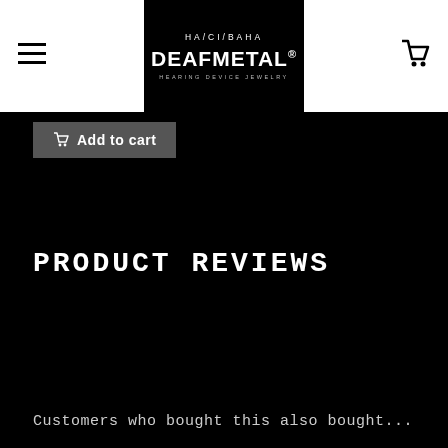HA/CI/BAHA DEAFMETAL® HEARING DEVICE JEWELRY
Add to cart
PRODUCT REVIEWS
Customers who bought this also bought...